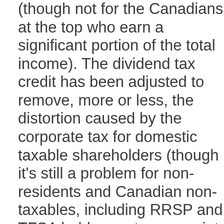(though not for the Canadians at the top who earn a significant portion of the total income). The dividend tax credit has been adjusted to remove, more or less, the distortion caused by the corporate tax for domestic taxable shareholders (though it's still a problem for non-residents and Canadian non-taxables, including RRSP and TFSA holders - at some point the feds are going to have to introduce a refundable dividend tax credit for non-taxables). Our witholding tax regime has been amended to stop taxing interest income